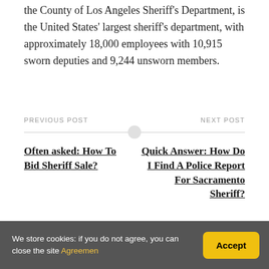the County of Los Angeles Sheriff's Department, is the United States' largest sheriff's department, with approximately 18,000 employees with 10,915 sworn deputies and 9,244 unsworn members.
PREVIOUS POST
NEXT POST
Often asked: How To Bid Sheriff Sale?
Quick Answer: How Do I Find A Police Report For Sacramento Sheriff?
We store cookies: if you do not agree, you can close the site Agreemen
Accept